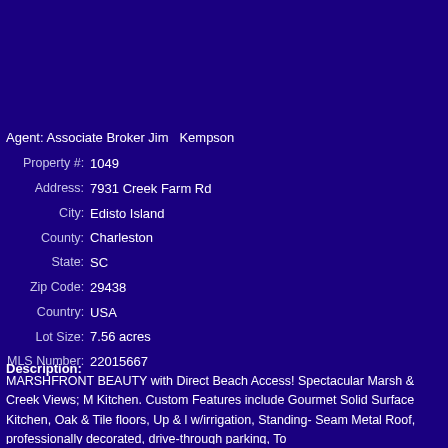Agent: Associate Broker Jim  Kempson
| Field | Value |
| --- | --- |
| Property #: | 1049 |
| Address: | 7931 Creek Farm Rd |
| City: | Edisto Island |
| County: | Charleston |
| State: | SC |
| Zip Code: | 29438 |
| Country: | USA |
| Lot Size: | 7.56 acres |
| MLS Number: | 22015667 |
Description:
MARSHFRONT BEAUTY with Direct Beach Access! Spectacular Marsh & Creek Views; M Kitchen. Custom Features include Gourmet Solid Surface Kitchen, Oak & Tile floors, Up & l w/irrigation, Standing- Seam Metal Roof, professionally decorated, drive-through parking, To